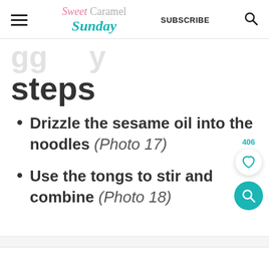Sweet Caramel Sunday | SUBSCRIBE
steps
Drizzle the sesame oil into the noodles (Photo 17)
Use the tongs to stir and combine (Photo 18)